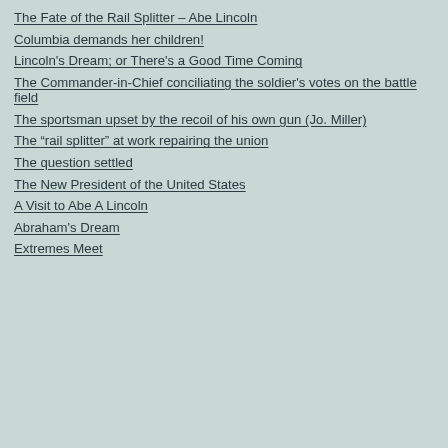The Fate of the Rail Splitter – Abe Lincoln
Columbia demands her children!
Lincoln's Dream; or There's a Good Time Coming
The Commander-in-Chief conciliating the soldier's votes on the battle field
The sportsman upset by the recoil of his own gun (Jo. Miller)
The “rail splitter” at work repairing the union
The question settled
The New President of the United States
A Visit to Abe A Lincoln
Abraham's Dream
Extremes Meet